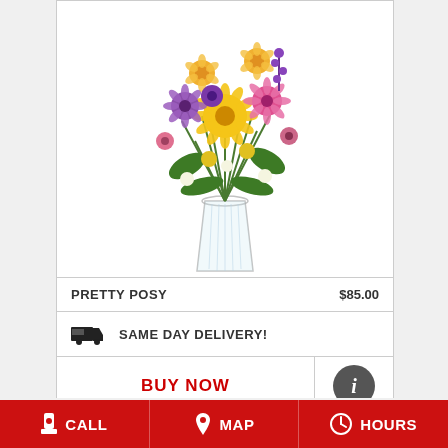[Figure (photo): A colorful flower bouquet with yellow gerberas, pink and purple flowers, yellow roses in a clear glass vase on white background]
PRETTY POSY   $85.00
SAME DAY DELIVERY!
BUY NOW
[Figure (photo): Partial view of a second flower arrangement with white and yellow flowers]
CALL   MAP   HOURS